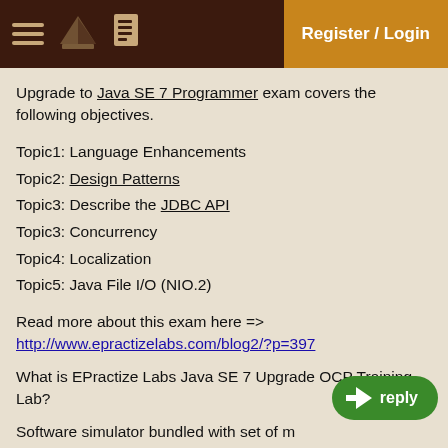Register / Login
Upgrade to Java SE 7 Programmer exam covers the following objectives.
Topic1: Language Enhancements
Topic2: Design Patterns
Topic3: Describe the JDBC API
Topic3: Concurrency
Topic4: Localization
Topic5: Java File I/O (NIO.2)
Read more about this exam here => http://www.epractizelabs.com/blog2/?p=397
What is EPractize Labs Java SE 7 Upgrade OCP Training Lab?
Software simulator bundled with set of mock questions and review slides to prepare Upgrade to Java SE 7 Programmer exam to achieve Oracle Certified